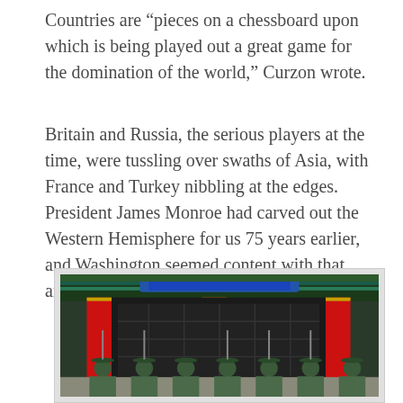Countries are “pieces on a chessboard upon which is being played out a great game for the domination of the world,” Curzon wrote.
Britain and Russia, the serious players at the time, were tussling over swaths of Asia, with France and Turkey nibbling at the edges. President James Monroe had carved out the Western Hemisphere for us 75 years earlier, and Washington seemed content with that arrangement.
[Figure (photo): Rear view of a row of soldiers in green military uniforms and caps standing at attention in front of a traditional Chinese palace building with red columns and ornate green roof decorations.]